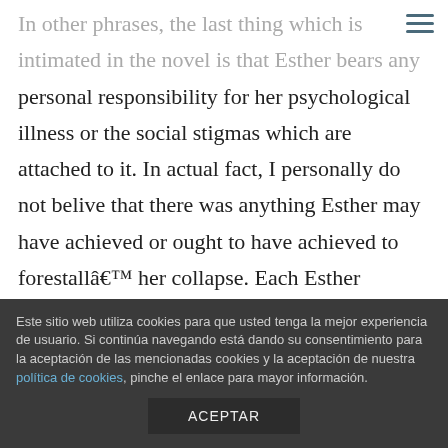In other phrases, the last thing which is intimated in the novel is that Esther bears any personal responsibility for her psychological illness or the social stigmas which are attached to it. In actual fact, I personally do not belive that there was anything Esther may have achieved or ought to have achieved to forestall… her collapse. Each Esther Greenwood and Sylvia Plath wanted to live richly, wisely, and well.
The committee decided that the next scientific
Este sitio web utiliza cookies para que usted tenga la mejor experiencia de usuario. Si continúa navegando está dando su consentimiento para la aceptación de las mencionadas cookies y la aceptación de nuestra política de cookies, pinche el enlace para mayor información. ACEPTAR